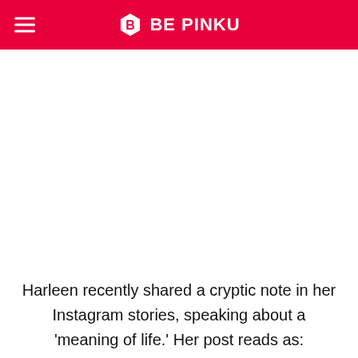BE PINKU
[Figure (photo): Empty white space area where an image would appear (image not loaded)]
Harleen recently shared a cryptic note in her Instagram stories, speaking about a 'meaning of life.' Her post reads as: “Continually looking for the meaning of life is